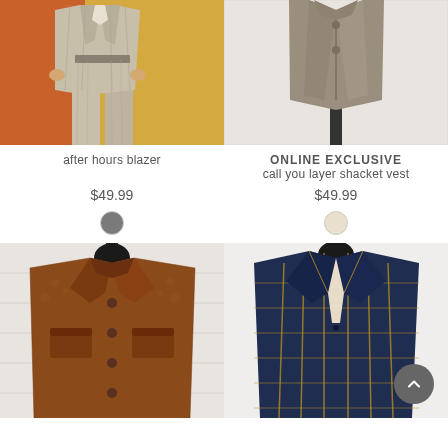[Figure (photo): Model wearing a light beige/grey pinstripe blazer and matching trousers against an orange background]
[Figure (photo): Taupe/khaki shacket vest on a mannequin against a white brick wall]
after hours blazer
ONLINE EXCLUSIVE
call you layer shacket vest
$49.99
$49.99
[Figure (illustration): Gray color swatch circle]
[Figure (illustration): Cream/off-white color swatch circle]
[Figure (photo): Brown sherpa/teddy jacket on a mannequin against a white brick wall]
[Figure (photo): Navy blue windowpane plaid blazer on a mannequin against a white background]